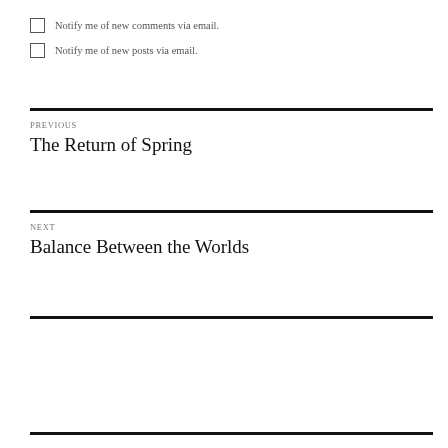Notify me of new comments via email.
Notify me of new posts via email.
PREVIOUS
The Return of Spring
NEXT
Balance Between the Worlds